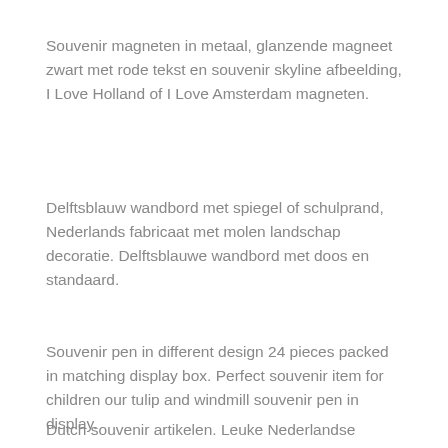Souvenir magneten in metaal, glanzende magneet zwart met rode tekst en souvenir skyline afbeelding, I Love Holland of I Love Amsterdam magneten.
Delftsblauw wandbord met spiegel of schulprand, Nederlands fabricaat met molen landschap decoratie. Delftsblauwe wandbord met doos en standaard.
Souvenir pen in different design 24 pieces packed in matching display box. Perfect souvenir item for children our tulip and windmill souvenir pen in display.
Dutch souvenir artikelen. Leuke Nederlandse